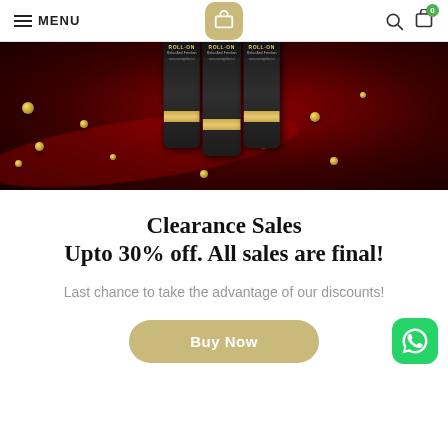MENU | [Logo] | [Search] [Cart 0]
[Figure (photo): Product banner showing three dark cylindrical Roll-On serum bottles with gold bands on a dark red luxurious background with gold decorative orbs/balls scattered around]
Clearance Sales
Upto 30% off. All sales are final!
Last chance to take the advantage of our discounts!
Buy Now